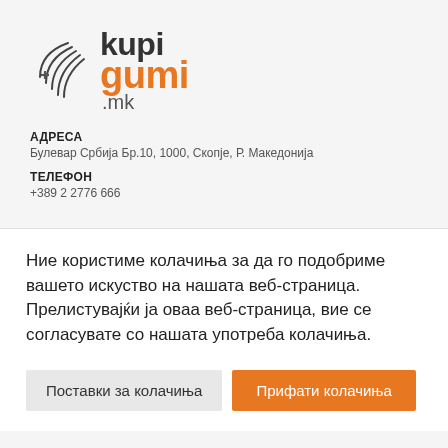[Figure (logo): KupiGumi.mk logo with stylized arc/swirl graphic and text 'kupi' in dark grey, 'gumi' in orange, '.mk' in grey]
АДРЕСА
Булевар Србија Бр.10, 1000, Скопје, Р. Македонија
ТЕЛЕФОН
+389 2 2776 666
Ние користиме колачиња за да го подобриме вашето искуство на нашата веб-страница. Прелистувајќи ја оваа веб-страница, вие се согласувате со нашата употреба колачиња.
Поставки за колачиња
Прифати колачиња